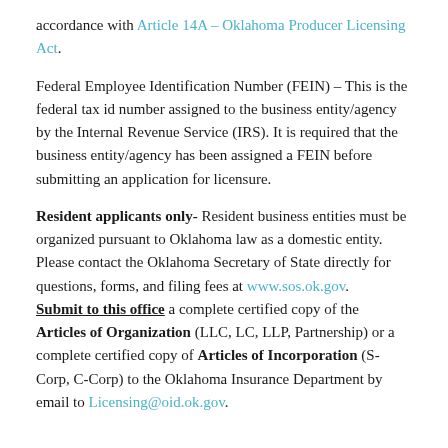accordance with Article 14A – Oklahoma Producer Licensing Act.
Federal Employee Identification Number (FEIN) – This is the federal tax id number assigned to the business entity/agency by the Internal Revenue Service (IRS). It is required that the business entity/agency has been assigned a FEIN before submitting an application for licensure.
Resident applicants only- Resident business entities must be organized pursuant to Oklahoma law as a domestic entity. Please contact the Oklahoma Secretary of State directly for questions, forms, and filing fees at www.sos.ok.gov. Submit to this office a complete certified copy of the Articles of Organization (LLC, LC, LLP, Partnership) or a complete certified copy of Articles of Incorporation (S-Corp, C-Corp) to the Oklahoma Insurance Department by email to Licensing@oid.ok.gov.